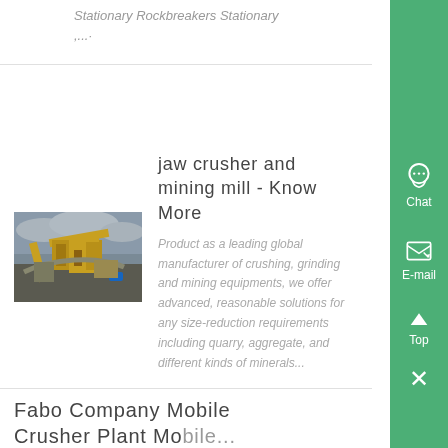Stationary Rockbreakers Stationary ,...
jaw crusher and mining mill - Know More
[Figure (photo): Outdoor mining site with heavy crushing/screening equipment machinery under overcast sky]
Product as a leading global manufacturer of crushing, grinding and mining equipments, we offer advanced, reasonable solutions for any size-reduction requirements including quarry, aggregate, and different kinds of minerals...
Fabo Company Mobile Crusher Plant Mobile...